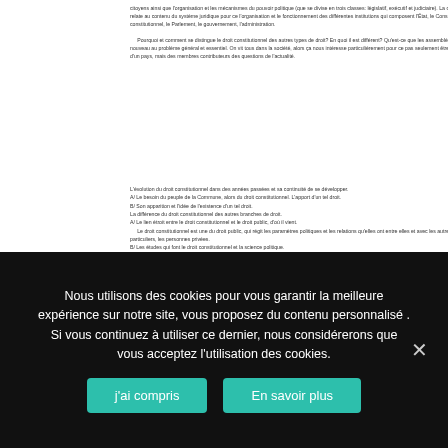citoyens ainsi que l'organisation et les mécanismes du pouvoir politique (que se divise en trois classes: législatif, exécutif et judiciaire). La constitution, relate au contenu du système juridique pour ce l'organisation et le fonctionnement des différentes institutions qui composent l'État, le Conseil constitutionnel, le Parlement, le gouvernement, l'administration.

Pourquoi et comment se distingue le droit constitutionnel des autres types de droit? En quoi il est différent? Qu'est-ce que les assemblés? L'intérêt du nouveau au problème général et essentiel. On vit tous dans la société, alors ça nous intéresse particulièrement pour ce pas seulement être des habitants d'un pays, mais des membres contributeurs des questions de l'actualité.
L'évolution du droit constitutionnel dans des années passées et sa continuité de se développer.
A/ Le besoin du peuple de la Commune, alors du droit constitutionnel. L'apport d'un tel droit.
B/ Son apparition et l'idée de l'existence d'un tel droit.
La différence du droit constitutionnel des autres branches de droit.
A/ Le lien étroit entre le droit constitutionnel et le droit public, d'où il vient.
Le droit constitutionnel est une du droit public, qui régit les paramètres politiques et les relations qu'elles ont entre elles et avec les autres (les particuliers, les personnes privées.
B/ Les études qui font le droit constitutionnel et la science politique.
A post shared by Master Physician Leaders masterphysicianleaders on Nov 8, at am PST
Nous utilisons des cookies pour vous garantir la meilleure expérience sur notre site, vous proposez du contenu personnalisé . Si vous continuez à utiliser ce dernier, nous considérerons que vous acceptez l'utilisation des cookies.